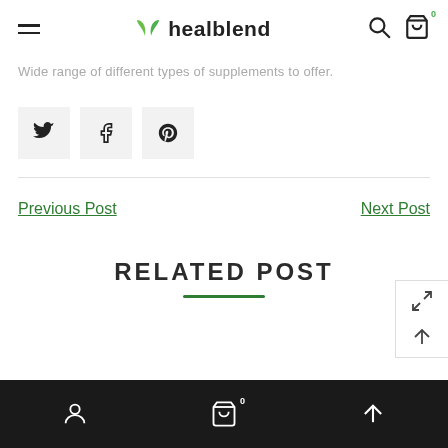healblend
Wide range of different types of supplements to offer.
[Figure (other): Social share buttons: Twitter, Facebook, Pinterest]
Previous Post
Next Post
RELATED POST
Bottom navigation bar with user, cart, and up arrow icons